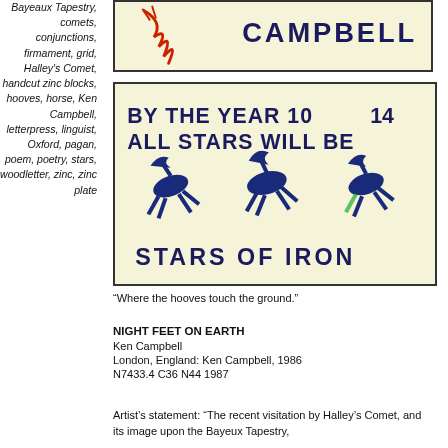Bayeaux Tapestry, comets, conjunctions, firmament, grid, Halley's Comet, handcut zinc blocks, hooves, horse, Ken Campbell, letterpress, linguist, Oxford, pagan, poem, poetry, stars, woodletter, zinc, zinc plate
[Figure (illustration): Top portion of a book cover showing 'CAMPBELL' text in bold dark letters on a pale yellow background with a red comet-like illustration on the left.]
[Figure (illustration): Book cover image on pale yellow background with bold block text 'BY THE YEAR 1014 ALL STARS WILL BE STARS OF IRON' and blue stylized figures of horses or creatures running.]
“Where the hooves touch the ground.”
NIGHT FEET ON EARTH
Ken Campbell
London, England: Ken Campbell, 1986
N7433.4 C36 N44 1987
Artist’s statement: “The recent visitation by Halley’s Comet, and its image upon the Bayeux Tapestry,